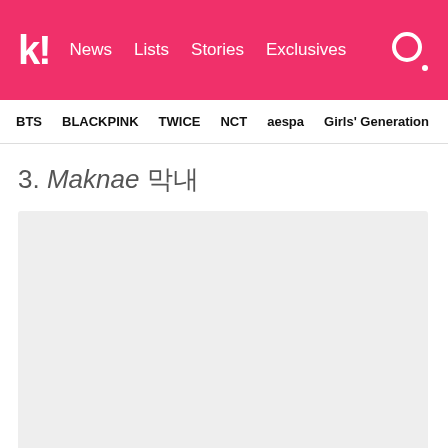k! News Lists Stories Exclusives
BTS BLACKPINK TWICE NCT aespa Girls' Generation
3. Maknae 막내
[Figure (photo): Large light gray placeholder image for a photo related to the Maknae section]
The youngest member of each K-Pop group. Interestingly, members are...